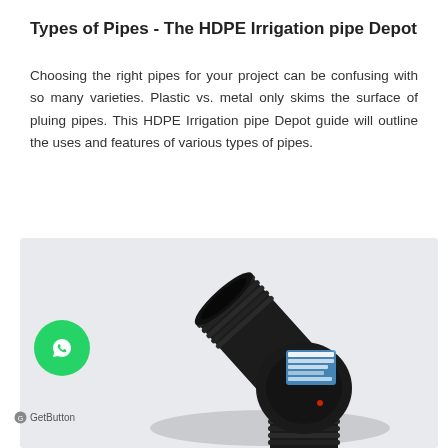Types of Pipes - The HDPE Irrigation pipe Depot
Choosing the right pipes for your project can be confusing with so many varieties. Plastic vs. metal only skims the surface of pluing pipes. This HDPE Irrigation pipe Depot guide will outline the uses and features of various types of pipes.
[Figure (photo): Black HDPE pipe elbow fitting with threaded ends, product label visible, on a light grey background]
[Figure (logo): WhatsApp chat button (green circle with phone/chat icon) and GetButton label below it]